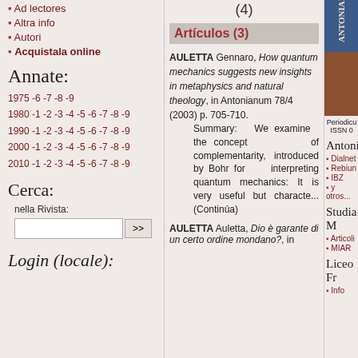Ad lectores
Altra info
Autori
Acquistala online
Annate:
1975 -6 -7 -8 -9
1980 -1 -2 -3 -4 -5 -6 -7 -8 -9
1990 -1 -2 -3 -4 -5 -6 -7 -8 -9
2000 -1 -2 -3 -4 -5 -6 -7 -8 -9
2010 -1 -2 -3 -4 -5 -6 -7 -8 -9
Cerca:
nella Rivista:
Login (locale):
(4)
Artículos (3)
AULETTA Gennaro, How quantum mechanics suggests new insights in metaphysics and natural theology, in Antonianum 78/4 (2003) p. 705-710.
Summary: We examine the concept of complementarity, introduced by Bohr for interpreting quantum mechanics: It is very useful but characte... (Continúa)
AULETTA Auletta, Dio è garante di un certo ordine mondano?, in
Periodicu
ISSN 0
Antonia
Dialnet
Rebiun
IBZ
y otros...
Studia M
Articoli
MIAR
Liceo Fr
Info